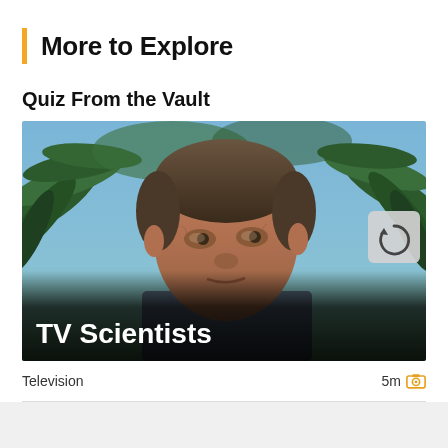More to Explore
Quiz From the Vault
[Figure (photo): A man's face with dark hair looking slightly upward against a background of palm trees and blue sky. The bottom half of the image has a dark overlay with the text 'TV Scientists' in white bold font. A small refresh button icon appears in the upper right of the image.]
Television	5m